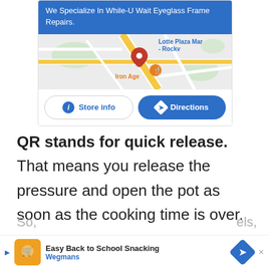[Figure (screenshot): Ad card with blue banner text 'We Specialize In While-U Wait Eyeglass Frame Repairs.', a Google map showing Iron Age location near Lotte Plaza Mar - Rockv, and two buttons: Store info and Directions.]
QR stands for quick release. That means you release the pressure and open the pot as soon as the cooking time is over.
So,
you'
[Figure (screenshot): Bottom ad banner: Easy Back to School Snacking - Wegmans, with a directions icon on the right.]